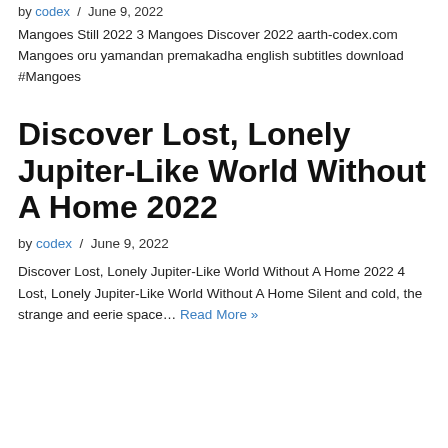by codex / June 9, 2022
Mangoes Still 2022 3 Mangoes Discover 2022 aarth-codex.com Mangoes oru yamandan premakadha english subtitles download #Mangoes
Discover Lost, Lonely Jupiter-Like World Without A Home 2022
by codex / June 9, 2022
Discover Lost, Lonely Jupiter-Like World Without A Home 2022 4 Lost, Lonely Jupiter-Like World Without A Home Silent and cold, the strange and eerie space… Read More »